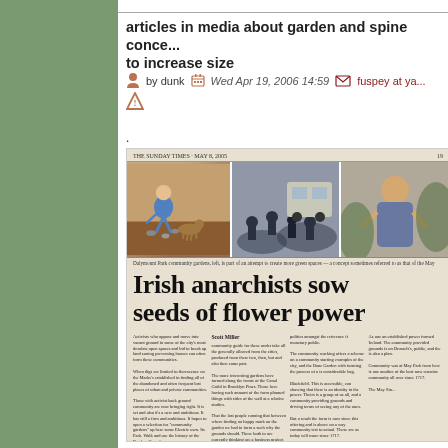articles in media about garden and spine conce... to increase size
by dunk   Wed Apr 19, 2006 14:59   fuspey at ya...
.
[Figure (photo): Scanned newspaper page from The Sunday Times showing article 'Irish anarchists sow seeds of flower power' with photos of people gardening and protest scenes]